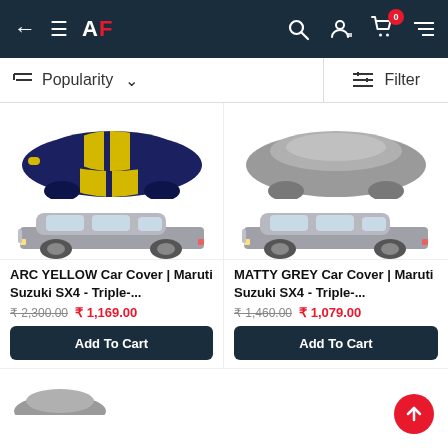← ☰ AF  🔍 👤 🛒 (0)
Sort: Popularity ∨   Filter
[Figure (photo): ARC YELLOW car cover (navy blue with yellow stripes) on top, silver Maruti Suzuki SX4 car below]
ARC YELLOW Car Cover | Maruti Suzuki SX4 - Triple-...
₹ 2,300.00  ₹ 1,169.00
Add To Cart
[Figure (photo): MATTY GREY car cover (solid grey) on top, silver Maruti Suzuki SX4 car below]
MATTY GREY Car Cover | Maruti Suzuki SX4 - Triple-...
₹ 1,460.00  ₹ 1,079.00
Add To Cart